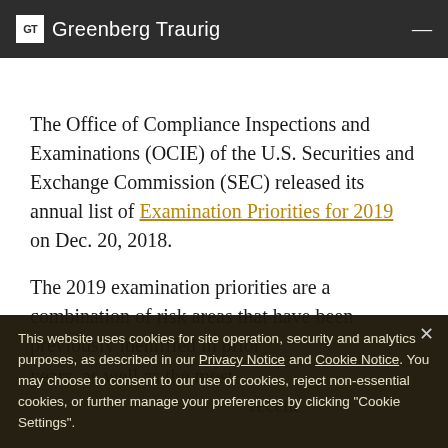GT Greenberg Traurig
The Office of Compliance Inspections and Examinations (OCIE) of the U.S. Securities and Exchange Commission (SEC) released its annual list of Examination Priorities for 2019 on Dec. 20, 2018.
The 2019 examination priorities are a combination of risk areas that have been previously identified in prior [years, as well as new and emerging risk areas. The examination priorities reflect the staff's judgment...]
This website uses cookies for site operation, security and analytics purposes, as described in our Privacy Notice and Cookie Notice. You may choose to consent to our use of cookies, reject non-essential cookies, or further manage your preferences by clicking "Cookie Settings".